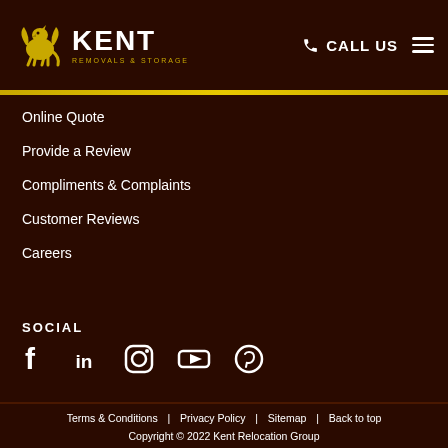[Figure (logo): Kent Removals & Storage logo with golden griffin and text]
CALL US
Online Quote
Provide a Review
Compliments & Complaints
Customer Reviews
Careers
SOCIAL
[Figure (infographic): Social media icons: Facebook, LinkedIn, Instagram, YouTube, Pinterest]
Terms & Conditions  |  Privacy Policy  |  Sitemap  |  Back to top
Copyright © 2022 Kent Relocation Group